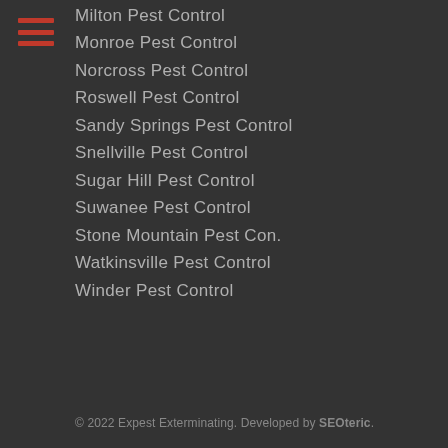Milton Pest Control
Monroe Pest Control
Norcross Pest Control
Roswell Pest Control
Sandy Springs Pest Control
Snellville Pest Control
Sugar Hill Pest Control
Suwanee Pest Control
Stone Mountain Pest Con.
Watkinsville Pest Control
Winder Pest Control
© 2022 Expest Exterminating. Developed by SEOteric.